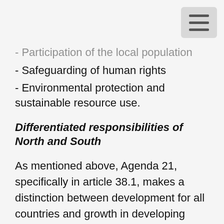- Participation of the local population
- Safeguarding of human rights
- Environmental protection and sustainable resource use.
Differentiated responsibilities of North and South
As mentioned above, Agenda 21, specifically in article 38.1, makes a distinction between development for all countries and growth in developing countries. This distinction (between North and South) had been recognized even before the Rio-process had started, with UN institutions acknowledging the fact that although there is a need for all states to take collective responsibility for the environment, mitigating actions should allow countries of varying levels of development to